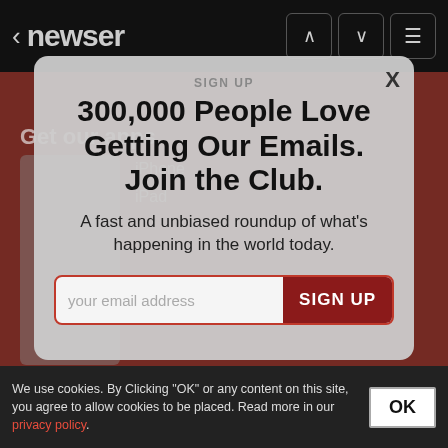< newser
[Figure (screenshot): Newser mobile app page showing 'Get our apps' section with iPhone, iPad, Android, Windows app links, dimmed behind modal overlay]
SIGN UP
300,000 People Love Getting Our Emails. Join the Club.
A fast and unbiased roundup of what's happening in the world today.
your email address  SIGN UP
We use cookies. By Clicking "OK" or any content on this site, you agree to allow cookies to be placed. Read more in our privacy policy.
OK